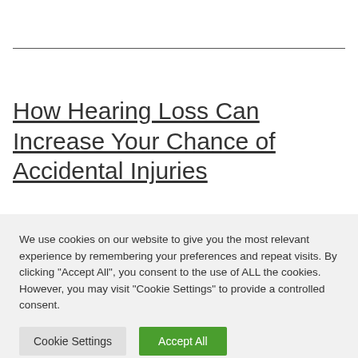How Hearing Loss Can Increase Your Chance of Accidental Injuries
We use cookies on our website to give you the most relevant experience by remembering your preferences and repeat visits. By clicking "Accept All", you consent to the use of ALL the cookies. However, you may visit "Cookie Settings" to provide a controlled consent.